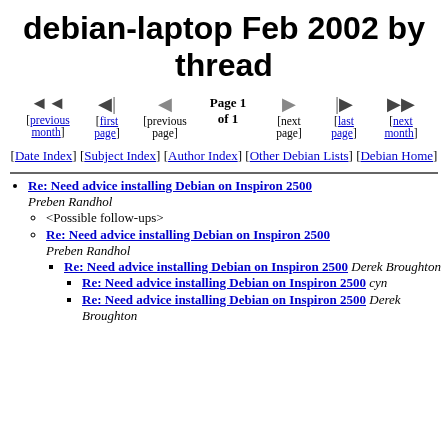debian-laptop Feb 2002 by thread
[previous month] [first page] [previous page] Page 1 of 1 [next page] [last page] [next month]
[Date Index] [Subject Index] [Author Index] [Other Debian Lists] [Debian Home]
Re: Need advice installing Debian on Inspiron 2500 — Preben Randhol
<Possible follow-ups>
Re: Need advice installing Debian on Inspiron 2500 — Preben Randhol
Re: Need advice installing Debian on Inspiron 2500 — Derek Broughton
Re: Need advice installing Debian on Inspiron 2500 — cyn
Re: Need advice installing Debian on Inspiron 2500 — Derek Broughton